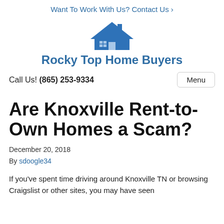Want To Work With Us? Contact Us ›
[Figure (logo): Blue house icon with chimney and windows]
Rocky Top Home Buyers
Call Us! (865) 253-9334
Are Knoxville Rent-to-Own Homes a Scam?
December 20, 2018
By sdoogle34
If you've spent time driving around Knoxville TN or browsing Craigslist or other sites, you may have seen